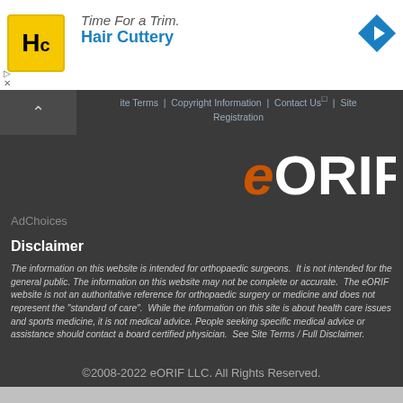[Figure (logo): Hair Cuttery advertisement banner with HC logo in yellow box and blue arrow icon on right]
ite Terms | Copyright Information | Contact Us | Site Registration
[Figure (logo): eORIF logo in white and orange on dark background]
AdChoices
Disclaimer
The information on this website is intended for orthopaedic surgeons.  It is not intended for the general public. The information on this website may not be complete or accurate.  The eORIF website is not an authoritative reference for orthopaedic surgery or medicine and does not represent the "standard of care".  While the information on this site is about health care issues and sports medicine, it is not medical advice. People seeking specific medical advice or assistance should contact a board certified physician.  See Site Terms / Full Disclaimer.
©2008-2022 eORIF LLC. All Rights Reserved.